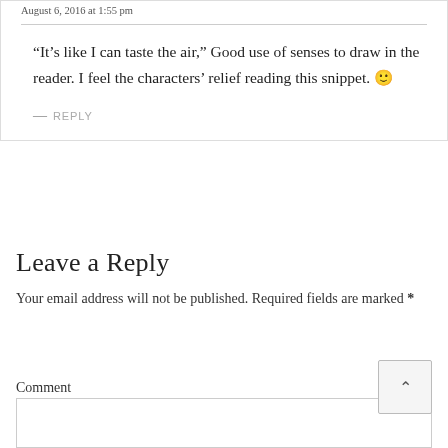August 6, 2016 at 1:55 pm
“It's like I can taste the air,” Good use of senses to draw in the reader. I feel the characters' relief reading this snippet. 🙂
— REPLY
Leave a Reply
Your email address will not be published. Required fields are marked *
Comment